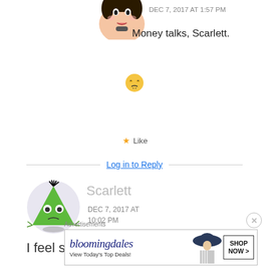[Figure (illustration): Cartoon/bitmoji avatar of a person, cropped at top]
DEC 7, 2017 AT 1:57 PM
Money talks, Scarlett.
[Figure (illustration): Yellow emoji face with tired/sleepy expression]
Like
Log in to Reply
[Figure (illustration): Circular avatar showing a green alien/monster cartoon face with wild hair]
Scarlett
DEC 7, 2017 AT 10:02 PM
I feel so heartbroken they
Advertisements
[Figure (illustration): Bloomingdale's advertisement banner showing logo, 'View Today's Top Deals!', an image of a woman with a hat, and a 'SHOP NOW >' button]